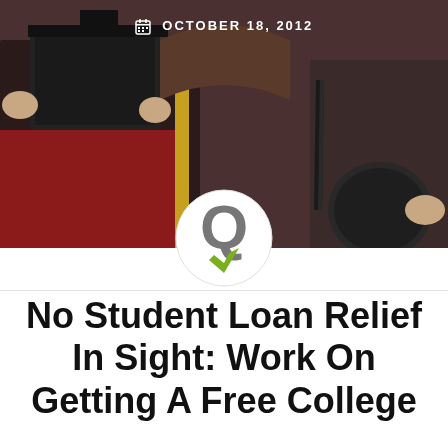[Figure (photo): Graduation photo showing a person in red graduation gown holding a diploma and a ball and chain, symbolizing student loan debt. Date overlay reads OCTOBER 18, 2012.]
[Figure (logo): GQ or graduation-related logo in a white circle, gray Q-shaped icon with green accent]
No Student Loan Relief In Sight: Work On Getting A Free College Education